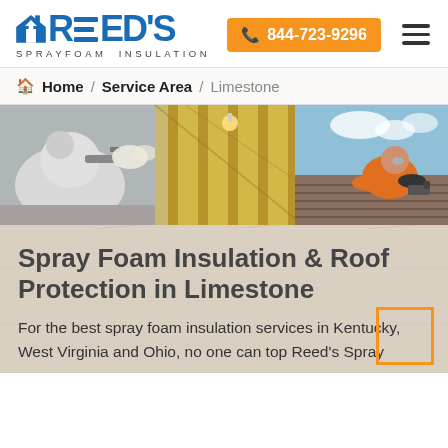Reed's Sprayfoam Insulation | 844-723-9296
Home / Service Area / Limestone
[Figure (photo): Composite photo showing a worker in protective white suit spraying foam insulation on the left, a framed interior with yellow foam insulation in center, and a worker in orange shirt installing roofing on the right.]
Spray Foam Insulation & Roof Protection in Limestone
For the best spray foam insulation services in Kentucky, West Virginia and Ohio, no one can top Reed's Spray